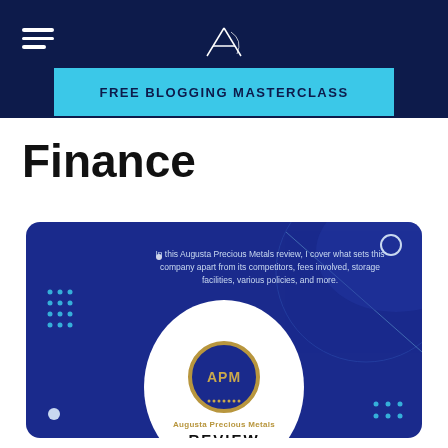Adam Enfroy — FREE BLOGGING MASTERCLASS
Finance
[Figure (screenshot): Augusta Precious Metals Review article card with dark navy blue background, APM circular logo badge in gold and blue, text reading 'In this Augusta Precious Metals review, I cover what sets this company apart from its competitors, fees involved, storage facilities, various policies, and more.' and 'Augusta Precious Metals REVIEW' at the bottom center in a white circle.]